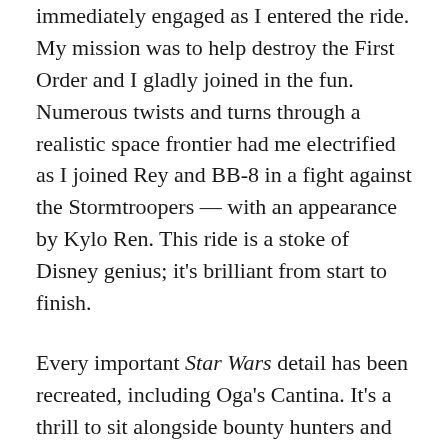immediately engaged as I entered the ride. My mission was to help destroy the First Order and I gladly joined in the fun. Numerous twists and turns through a realistic space frontier had me electrified as I joined Rey and BB-8 in a fight against the Stormtroopers — with an appearance by Kylo Ren. This ride is a stoke of Disney genius; it's brilliant from start to finish.
Every important Star Wars detail has been recreated, including Oga's Cantina. It's a thrill to sit alongside bounty hunters and an assortment of rogues. You can order from a menu of light snacks and exotic drinks (with alcohol or without) and the various concoctions boggle the mind. A two-drink and 45-minute limit help control the crowds, and as the lines to get in can be